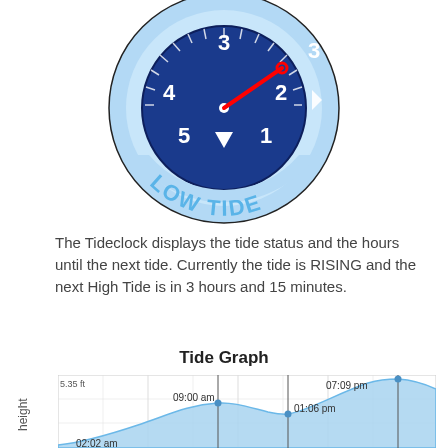[Figure (illustration): Tide clock diagram showing a circular clock face with dark blue inner dial labeled with numbers 1-5 and 3 on both sides, a red hand pointing toward 3, a downward white triangle arrow at bottom labeled LOW TIDE in light blue text, and a light blue outer ring with a white arrow indicating direction. The bottom section shows 'LOW TIDE' in large light blue letters.]
The Tideclock displays the tide status and the hours until the next tide. Currently the tide is RISING and the next High Tide is in 3 hours and 15 minutes.
Tide Graph
[Figure (area-chart): Area chart showing tide height over time. Y-axis labeled 'height', shows value 5.35 ft. Four labeled points: 02:02 am (low, bottom left), 09:00 am (local high), 01:06 pm (local low), 07:09 pm (highest at 5.35 ft). Light blue filled area curve.]